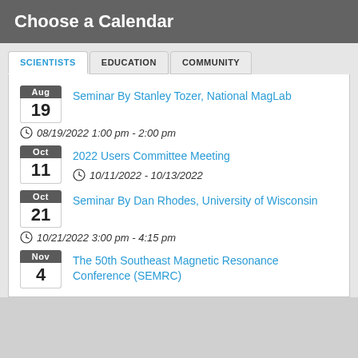Choose a Calendar
SCIENTISTS | EDUCATION | COMMUNITY
Seminar By Stanley Tozer, National MagLab
08/19/2022 1:00 pm - 2:00 pm
2022 Users Committee Meeting
10/11/2022 - 10/13/2022
Seminar By Dan Rhodes, University of Wisconsin
10/21/2022 3:00 pm - 4:15 pm
The 50th Southeast Magnetic Resonance Conference (SEMRC)